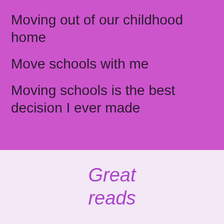Moving out of our childhood home
Move schools with me
Moving schools is the best decision I ever made
Great reads